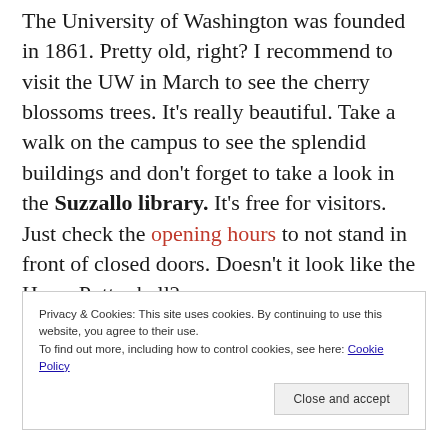The University of Washington was founded in 1861. Pretty old, right? I recommend to visit the UW in March to see the cherry blossoms trees. It's really beautiful. Take a walk on the campus to see the splendid buildings and don't forget to take a look in the Suzzallo library. It's free for visitors. Just check the opening hours to not stand in front of closed doors. Doesn't it look like the Harry Potter hall?
Privacy & Cookies: This site uses cookies. By continuing to use this website, you agree to their use. To find out more, including how to control cookies, see here: Cookie Policy